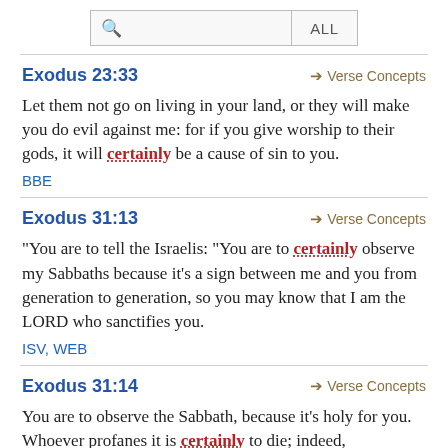Search bar with ALL filter
Exodus 23:33 → Verse Concepts
Let them not go on living in your land, or they will make you do evil against me: for if you give worship to their gods, it will certainly be a cause of sin to you.
BBE
Exodus 31:13 → Verse Concepts
"You are to tell the Israelis: "You are to certainly observe my Sabbaths because it's a sign between me and you from generation to generation, so you may know that I am the LORD who sanctifies you.
ISV, WEB
Exodus 31:14 → Verse Concepts
You are to observe the Sabbath, because it's holy for you. Whoever profanes it is certainly to die; indeed,